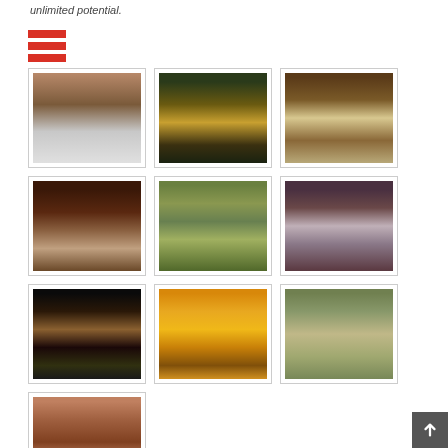unlimited potential.
[Figure (illustration): Red hamburger menu icon with three horizontal red bars]
[Figure (photo): Blurred abstract nature photo 1 - trees reflected in water, pinkish-brown tones]
[Figure (photo): Blurred abstract nature photo 2 - yellow lit trees in dark forest]
[Figure (photo): Blurred abstract nature photo 3 - brown blurred trees with light sky]
[Figure (photo): Blurred abstract nature photo 4 - dark forest with white birch trees]
[Figure (photo): Blurred abstract nature photo 5 - green meadow with blurred trees]
[Figure (photo): Blurred abstract nature photo 6 - purple-grey blurred trees]
[Figure (photo): Blurred abstract nature photo 7 - road at night with tree reflections]
[Figure (photo): Blurred abstract nature photo 8 - yellow autumn leaves on trees with path]
[Figure (photo): Blurred abstract nature photo 9 - green hillside landscape]
[Figure (photo): Blurred abstract nature photo 10 - foggy forest with tall reddish trees]